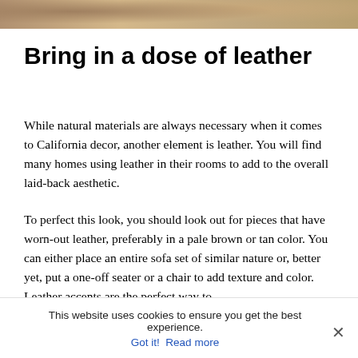[Figure (photo): Partial photo strip at top of page showing a beige/tan textured surface, likely leather or natural material]
Bring in a dose of leather
While natural materials are always necessary when it comes to California decor, another element is leather. You will find many homes using leather in their rooms to add to the overall laid-back aesthetic.
To perfect this look, you should look out for pieces that have worn-out leather, preferably in a pale brown or tan color. You can either place an entire sofa set of similar nature or, better yet, put a one-off seater or a chair to add texture and color. Leather accents are the perfect way to
This website uses cookies to ensure you get the best experience.
Got it!  Read more